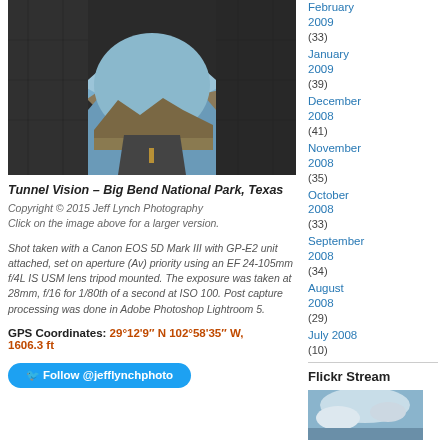[Figure (photo): View from inside a tunnel looking out onto a desert highway stretching into mountains, Big Bend National Park, Texas]
Tunnel Vision – Big Bend National Park, Texas
Copyright © 2015 Jeff Lynch Photography
Click on the image above for a larger version.
Shot taken with a Canon EOS 5D Mark III with GP-E2 unit attached, set on aperture (Av) priority using an EF 24-105mm f/4L IS USM lens tripod mounted. The exposure was taken at 28mm, f/16 for 1/80th of a second at ISO 100. Post capture processing was done in Adobe Photoshop Lightroom 5.
GPS Coordinates: 29°12'9" N 102°58'35" W, 1606.3 ft
Follow @jefflynchphoto
February 2009 (33)
January 2009 (39)
December 2008 (41)
November 2008 (35)
October 2008 (33)
September 2008 (34)
August 2008 (29)
July 2008 (10)
Flickr Stream
[Figure (photo): Flickr stream thumbnail showing clouds/sky]